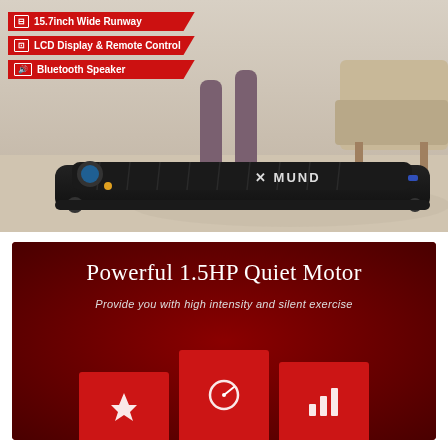[Figure (photo): Product photo of XMUND treadmill with person walking on it in a living room setting. Feature banners overlay the left side: 15.7inch Wide Runway, LCD Display & Remote Control, Bluetooth Speaker.]
15.7inch Wide Runway
LCD Display & Remote Control
Bluetooth Speaker
[Figure (infographic): Dark red promotional panel. Title: Powerful 1.5HP Quiet Motor. Subtitle: Provide you with high intensity and silent exercise. Three red cards showing icons for power/lightning bolt, speed/dial, and signal bars.]
Powerful 1.5HP Quiet Motor
Provide you with high intensity and silent exercise